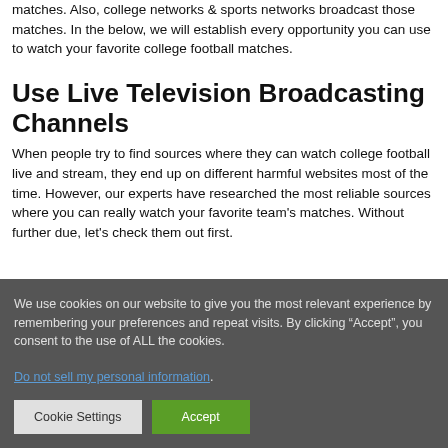matches. Also, college networks & sports networks broadcast those matches. In the below, we will establish every opportunity you can use to watch your favorite college football matches.
Use Live Television Broadcasting Channels
When people try to find sources where they can watch college football live and stream, they end up on different harmful websites most of the time. However, our experts have researched the most reliable sources where you can really watch your favorite team's matches. Without further due, let's check them out first.
We use cookies on our website to give you the most relevant experience by remembering your preferences and repeat visits. By clicking “Accept”, you consent to the use of ALL the cookies.
Do not sell my personal information.